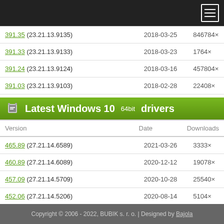| Version | Date | Downloads |
| --- | --- | --- |
| 391.35 (23.21.13.9135) | 2018-03-25 | 846784× |
| 391.33 (23.21.13.9133) | 2018-03-23 | 1764× |
| 391.24 (23.21.13.9124) | 2018-03-16 | 457804× |
| 391.03 (23.21.13.9103) | 2018-02-28 | 22408× |
Latest Windows 10 64bit drivers
| Version | Date | Downloads |
| --- | --- | --- |
| 465.89 (27.21.14.6589) | 2021-03-26 | 3333× |
| 460.89 (27.21.14.6089) | 2020-12-12 | 19078× |
| 457.09 (27.21.14.5709) | 2020-10-28 | 25540× |
| 452.06 (27.21.14.5206) | 2020-08-14 | 5104× |
| 451.48 (26.21.14.4292) | 2020-06-23 | 13764× |
Copyright © 2006 - 2022, BUBIK s. r. o. | Designed by Bajola